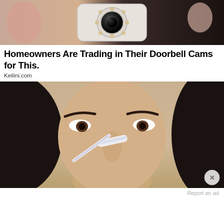[Figure (photo): A hand holding a small white security camera device with a circular lens and LED ring, shown against a dark blurred background.]
Homeowners Are Trading in Their Doorbell Cams for This.
Keilini.com
[Figure (photo): Close-up of a woman with dark hair and dark eyebrows using a white nose cleansing device or strip applicator on her nose.]
Report an ad